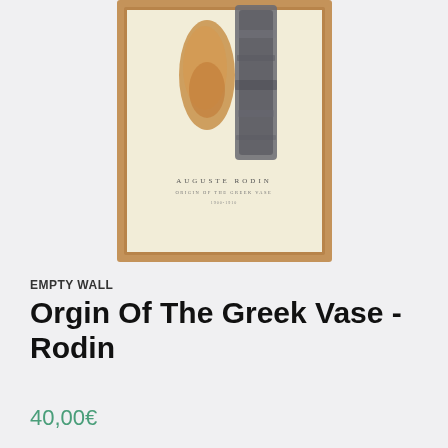[Figure (photo): A framed art poster featuring Auguste Rodin's 'Origin of the Greek Vase', showing abstract figures on a cream background with wooden frame, partially cropped at top]
EMPTY WALL
Orgin Of The Greek Vase - Rodin
40,00€